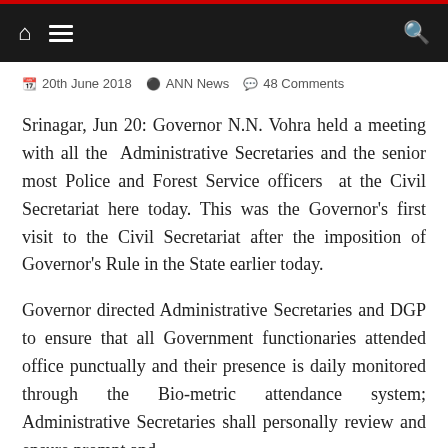Navigation bar with home, menu, and search icons
20th June 2018  ANN News  48 Comments
Srinagar, Jun 20: Governor N.N. Vohra held a meeting with all the  Administrative Secretaries and the senior most Police and Forest Service officers  at the Civil Secretariat here today. This was the Governor's first visit to the Civil Secretariat after the imposition of Governor's Rule in the State earlier today.
Governor directed Administrative Secretaries and DGP to ensure that all Government functionaries attended office punctually and their presence is daily monitored through the Bio-metric attendance system; Administrative Secretaries shall personally review and ensure prompt and